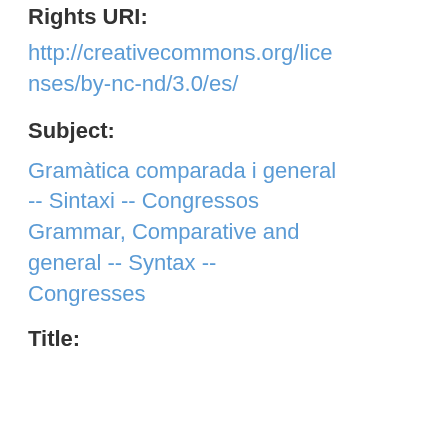Rights URI:
http://creativecommons.org/licenses/by-nc-nd/3.0/es/
Subject:
Gramàtica comparada i general -- Sintaxi -- Congressos Grammar, Comparative and general -- Syntax -- Congresses
Title: